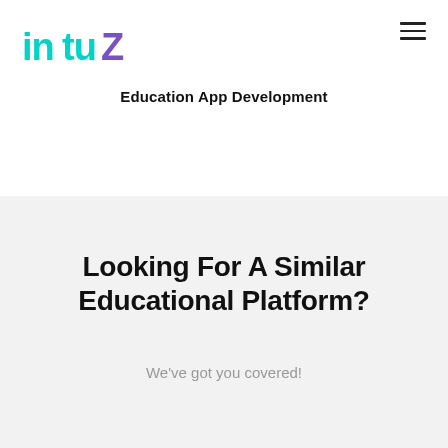[Figure (logo): Intuz logo in teal/cyan and purple colors]
Education App Development
Looking For A Similar Educational Platform?
We've got you covered!